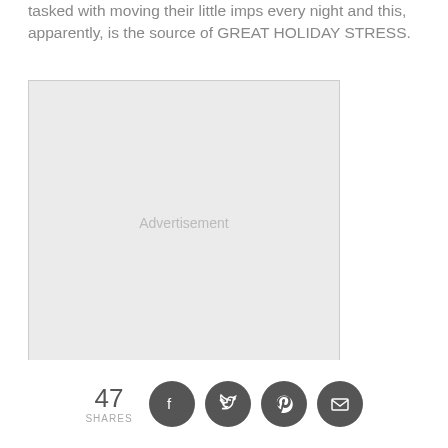tasked with moving their little imps every night and this, apparently, is the source of GREAT HOLIDAY STRESS.
[Figure (other): Advertisement placeholder box with light gray background and 'Advertisement' label in center]
I don't know any of this firsthand because I
47 SHARES [Facebook] [Twitter] [Pinterest] [Email]